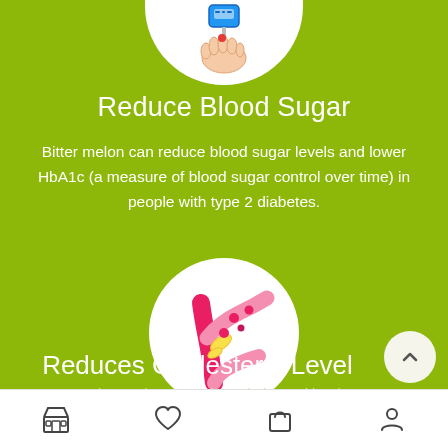[Figure (illustration): Blood glucose meter with a hand — partially visible white circle at top]
Reduce Blood Sugar
Bitter melon can reduce blood sugar levels and lower HbA1c (a measure of blood sugar control over time) in people with type 2 diabetes.
[Figure (illustration): Illustration of blood vessels/arteries with cholesterol deposits shown in pink]
Reduces Cholesterol Level
Bitter melon can reduce cholesterol levels — partially visible
[Figure (illustration): Bottom navigation bar with store, heart/wishlist, shopping bag, and user/profile icons]